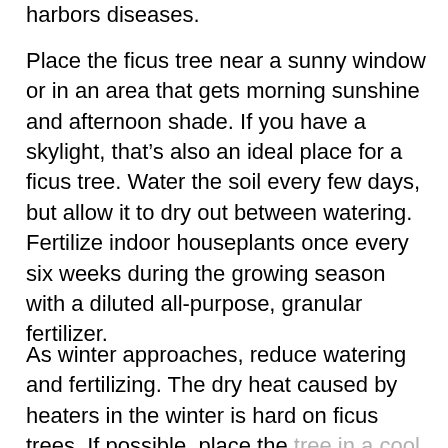harbors diseases.
Place the ficus tree near a sunny window or in an area that gets morning sunshine and afternoon shade. If you have a skylight, that's also an ideal place for a ficus tree. Water the soil every few days, but allow it to dry out between watering. Fertilize indoor houseplants once every six weeks during the growing season with a diluted all-purpose, granular fertilizer.
As winter approaches, reduce watering and fertilizing. The dry heat caused by heaters in the winter is hard on ficus trees. If possible, place the tree in a cool room and run a humidifier to increase humidity. As ficus trees adapt to winter conditions,